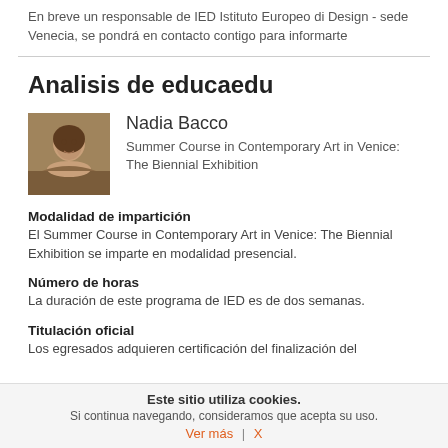En breve un responsable de IED Istituto Europeo di Design - sede Venecia, se pondrá en contacto contigo para informarte
Analisis de educaedu
[Figure (photo): Profile photo of Nadia Bacco]
Nadia Bacco
Summer Course in Contemporary Art in Venice: The Biennial Exhibition
Modalidad de impartición
El Summer Course in Contemporary Art in Venice: The Biennial Exhibition se imparte en modalidad presencial.
Número de horas
La duración de este programa de IED es de dos semanas.
Titulación oficial
Los egresados adquieren certificación del finalización del
Este sitio utiliza cookies.
Si continua navegando, consideramos que acepta su uso.
Ver más | X